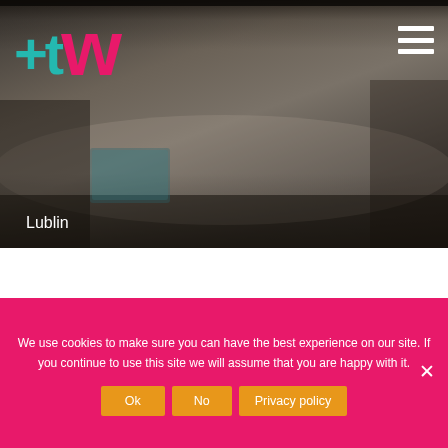[Figure (photo): Group of people sitting around a conference table with laptops, viewed from the side in a meeting room setting. Dark/moody lighting.]
[Figure (logo): +tw logo with teal plus sign, gray t, and pink/magenta w letters]
Lublin
We use cookies to make sure you can have the best experience on our site. If you continue to use this site we will assume that you are happy with it.
Ok
No
Privacy policy